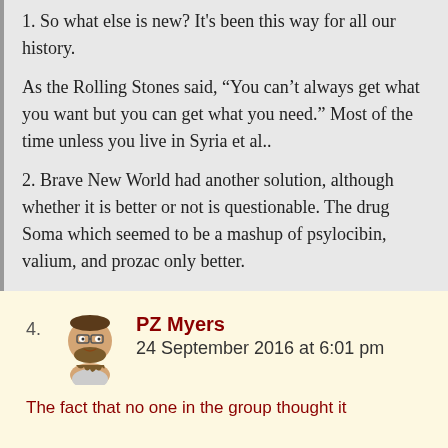1. So what else is new? It’s been this way for all our history.
As the Rolling Stones said, “You can’t always get what you want but you can get what you need.” Most of the time unless you live in Syria et al..
2. Brave New World had another solution, although whether it is better or not is questionable. The drug Soma which seemed to be a mashup of psylocibin, valium, and prozac only better.
PZ Myers
24 September 2016 at 6:01 pm
The fact that no one in the group thought it